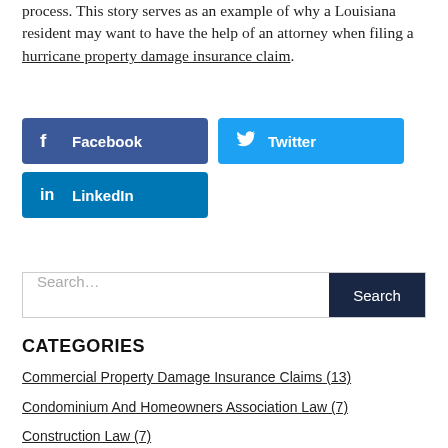process. This story serves as an example of why a Louisiana resident may want to have the help of an attorney when filing a hurricane property damage insurance claim.
[Figure (other): Social sharing buttons: Facebook, Twitter, LinkedIn]
[Figure (other): Search bar with Search button]
CATEGORIES
Commercial Property Damage Insurance Claims (13)
Condominium And Homeowners Association Law (7)
Construction Law (7)